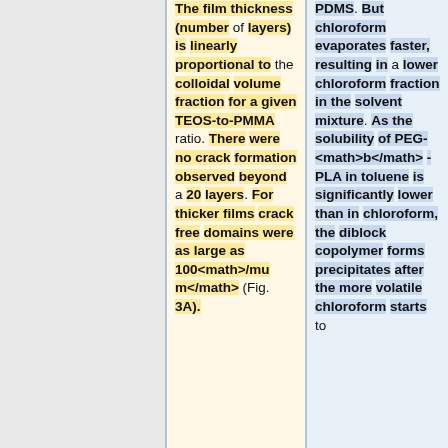The film thickness (number of layers) is linearly proportional to the colloidal volume fraction for a given TEOS-to-PMMA ratio. There were no crack formation observed beyond a 20 layers. For thicker films crack free domains were as large as 100<math>/mum</math> (Fig. 3A).
PDMS. But chloroform evaporates faster, resulting in a lower chloroform fraction in the solvent mixture. As the solubility of PEG-<math>b</math>-PLA in toluene is significantly lower than in chloroform, the diblock copolymer forms precipitates after the more volatile chloroform starts to